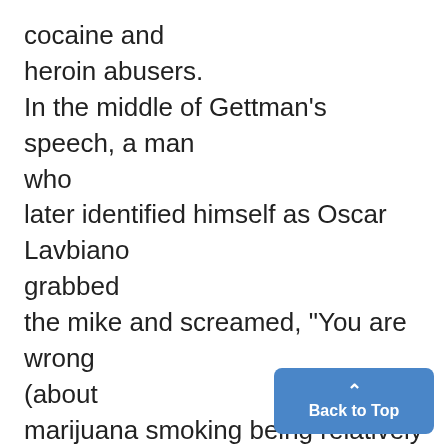cocaine and heroin abusers. In the middle of Gettman's speech, a man who later identified himself as Oscar Lavbiano grabbed the mike and screamed, "You are wrong (about marijuana smoking being relatively harmless), you are killing yourselves!" As the crowd jeered, Kile grabbed thee microphone Lavbiano, and he was pushed a
Back to Top